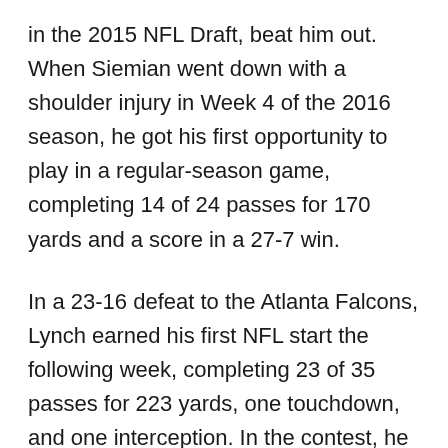in the 2015 NFL Draft, beat him out. When Siemian went down with a shoulder injury in Week 4 of the 2016 season, he got his first opportunity to play in a regular-season game, completing 14 of 24 passes for 170 yards and a score in a 27-7 win.
In a 23-16 defeat to the Atlanta Falcons, Lynch earned his first NFL start the following week, completing 23 of 35 passes for 223 yards, one touchdown, and one interception. In the contest, he was sacked six times, a club rookie record. When Siemian returned from injury the following week, he was reassigned to the bench. Lynch got another start against the Jacksonville Jaguars in